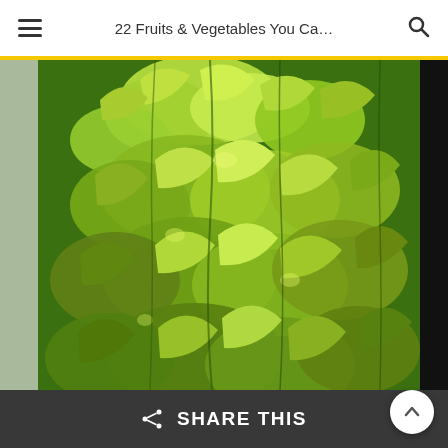22 Fruits & Vegetables You Ca...
[Figure (photo): Dense cluster of bright green heart-shaped leaves (sweet potato vine or similar) cascading downward, photographed against a white wall on the left and dark frame on the right]
SHARE THIS